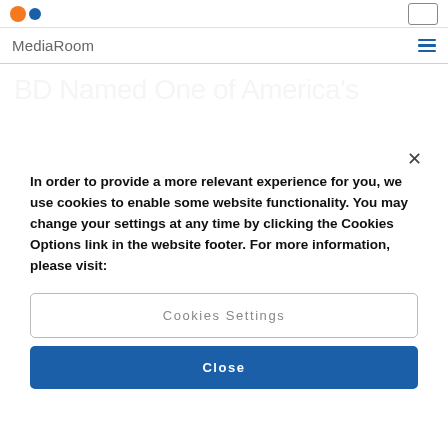BD logo and header navigation box
MediaRoom
BD Named One of America's
In order to provide a more relevant experience for you, we use cookies to enable some website functionality. You may change your settings at any time by clicking the Cookies Options link in the website footer. For more information, please visit:
Cookies Settings
Close